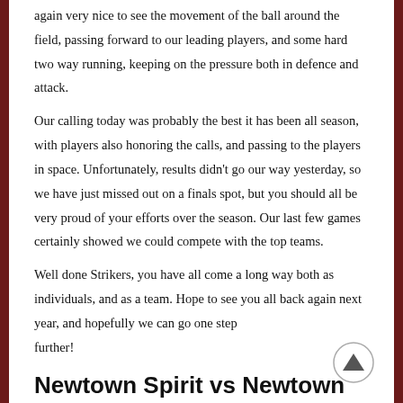again very nice to see the movement of the ball around the field, passing forward to our leading players, and some hard two way running, keeping on the pressure both in defence and attack.
Our calling today was probably the best it has been all season, with players also honoring the calls, and passing to the players in space. Unfortunately, results didn't go our way yesterday, so we have just missed out on a finals spot, but you should all be very proud of your efforts over the season. Our last few games certainly showed we could compete with the top teams.
Well done Strikers, you have all come a long way both as individuals, and as a team. Hope to see you all back again next year, and hopefully we can go one step further!
Newtown Spirit vs Newtown Strikers 0-8
Our final game for the 2019 winter hockey  season was played in beautiful sunny conditions on Sunday morning at Stead Park against fellow club team